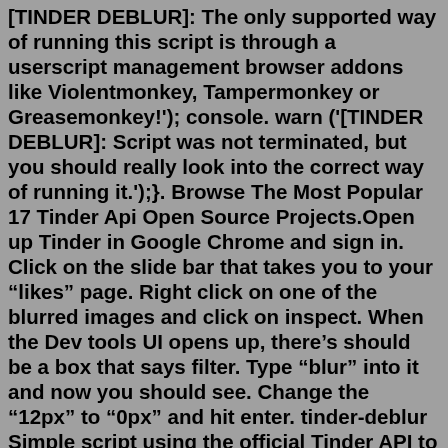[TINDER DEBLUR]: The only supported way of running this script is through a userscript management browser addons like Violentmonkey, Tampermonkey or Greasemonkey!'); console. warn ('[TINDER DEBLUR]: Script was not terminated, but you should really look into the correct way of running it.');}. Browse The Most Popular 17 Tinder Api Open Source Projects.Open up Tinder in Google Chrome and sign in. Click on the slide bar that takes you to your “likes” page. Right click on one of the blurred images and click on inspect. When the Dev tools UI opens up, there’s should be a box that says filter. Type “blur” into it and now you should see. Change the “12px” to “0px” and hit enter. tinder-deblur Simple script using the official Tinder API to get clean photos of the users who liked you How to use install a userscript manager ( Violentmonkey, Tampermonkey, Greasemonkey, ...) install the script: either click this link and the manager will install the script for you tinder-api x. ... Shell Script GitHub Script is a special action that allows using